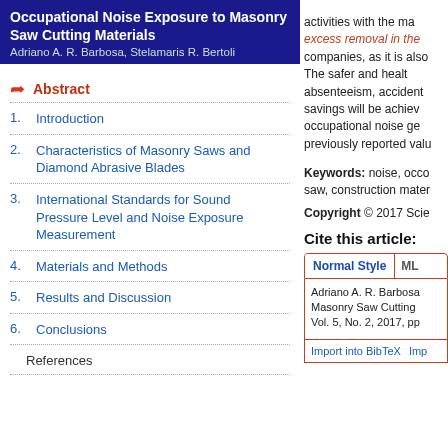Occupational Noise Exposure to Masonry Saw Cutting Materials
Adriano A. R. Barbosa, Stelamaris R. Bertoli
Abstract
1. Introduction
2. Characteristics of Masonry Saws and Diamond Abrasive Blades
3. International Standards for Sound Pressure Level and Noise Exposure Measurement
4. Materials and Methods
5. Results and Discussion
6. Conclusions
References
activities with the ma... excess removal in the... companies, as it is also... The safer and health... absenteeism, accident... savings will be achiev... occupational noise ge... previously reported valu...
Keywords: noise, occo... saw, construction mater...
Copyright © 2017 Scie...
Cite this article:
Normal Style | ML...
Adriano A. R. Barbosa... Masonry Saw Cutting... Vol. 5, No. 2, 2017, pp...
Import into BibTeX  Imp...